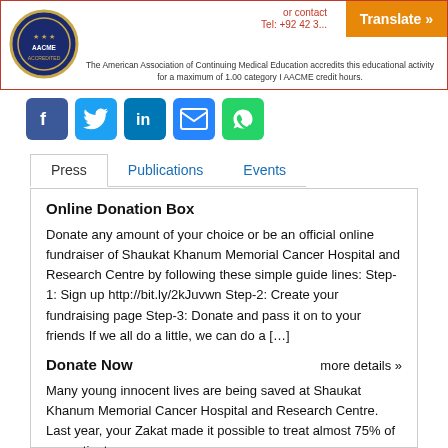[Figure (logo): Circular organizational logo (blue/gold) on left side of header banner]
or contact
Tel: +92 42 3...
Translate »
The American Association of Continuing Medical Education accredits this educational activity for a maximum of 1.00 category I AACME credit hours.
[Figure (infographic): Social media icons row: Facebook (blue), Twitter (blue), LinkedIn (blue), Email (blue), WhatsApp (green)]
Press
Publications
Events
Online Donation Box
Donate any amount of your choice or be an official online fundraiser of Shaukat Khanum Memorial Cancer Hospital and Research Centre by following these simple guide lines: Step-1: Sign up http://bit.ly/2kJuvwn Step-2: Create your fundraising page Step-3: Donate and pass it on to your friends If we all do a little, we can do a […]
Donate Now
more details »
Many young innocent lives are being saved at Shaukat Khanum Memorial Cancer Hospital and Research Centre. Last year, your Zakat made it possible to treat almost 75% of our patients